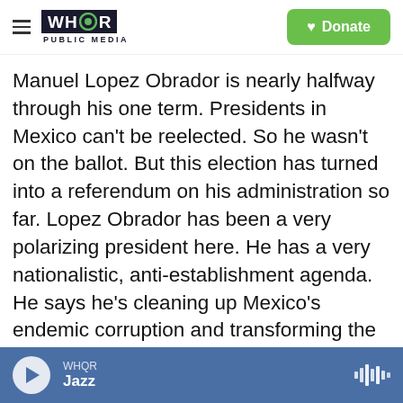WHQR PUBLIC MEDIA | Donate
Manuel Lopez Obrador is nearly halfway through his one term. Presidents in Mexico can't be reelected. So he wasn't on the ballot. But this election has turned into a referendum on his administration so far. Lopez Obrador has been a very polarizing president here. He has a very nationalistic, anti-establishment agenda. He says he's cleaning up Mexico's endemic corruption and transforming the country away from past free-market policies that only favored the rich. And he says his policies put the poor first. His opponents have characterized him as a dangerous, power-grabbing populist who demonizes his opponents
WHQR Jazz